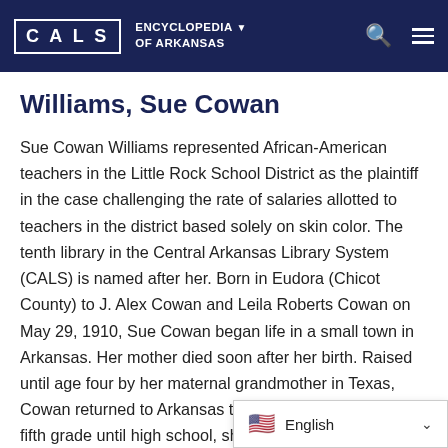CALS ENCYCLOPEDIA OF ARKANSAS
Williams, Sue Cowan
Sue Cowan Williams represented African-American teachers in the Little Rock School District as the plaintiff in the case challenging the rate of salaries allotted to teachers in the district based solely on skin color. The tenth library in the Central Arkansas Library System (CALS) is named after her. Born in Eudora (Chicot County) to J. Alex Cowan and Leila Roberts Cowan on May 29, 1910, Sue Cowan began life in a small town in Arkansas. Her mother died soon after her birth. Raised until age four by her maternal grandmother in Texas, Cowan returned to Arkansas to live with her father. From fifth grade until high school, she attended Spelman, a religious boarding school in Atlanta, Georgia. She underto